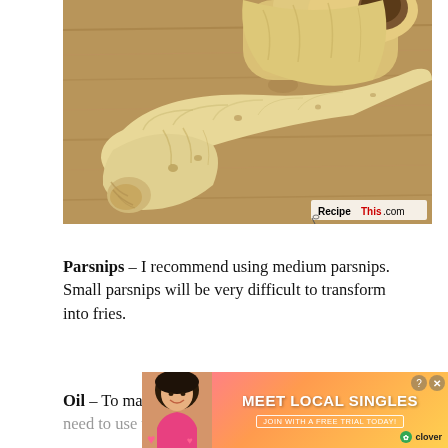[Figure (photo): Close-up photo of parsnips (pale cream/beige root vegetables) resting on a wooden cutting board surface, with a RecipeThis.com watermark in the bottom right corner.]
Parsnips – I recommend using medium parsnips. Small parsnips will be very difficult to transform into fries.
Oil – To make the best ever crispy parsnip fries you need to use the right oil for the ...
[Figure (infographic): Advertisement banner: 'MEET LOCAL SINGLES' with 'JOIN WITH A FREE TRIAL TODAY!' tagline from Clover dating app, showing a woman posing, pink/orange gradient background. Has close (X) and help (?) buttons.]